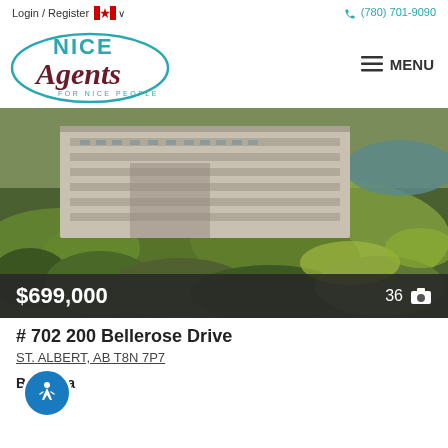Login / Register  🇨🇦 ∨   (780) 701-9090
[Figure (logo): Nice Agents For Nice People logo with teal oval outline, NICE in teal, Agents in dark red italic script, FOR NICE PEOPLE in teal small caps]
≡ MENU
[Figure (photo): Aerial view of large multi-story condominium complex surrounded by trees, with a river or pond visible in the upper right]
$699,000   36 📷
# 702 200 Bellerose Drive
ST. ALBERT, AB T8N 7P7
Botanica